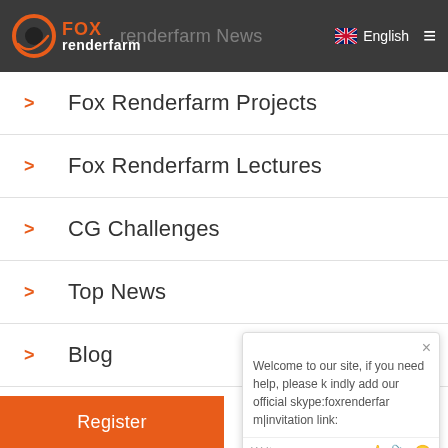Fox renderfarm | Foxrenderfarm News | English
> Fox Renderfarm Projects
> Fox Renderfarm Lectures
> CG Challenges
> Top News
> Blog
> Fox News
Welcome to our site, if you need help, please kindly add our official skype:foxrenderfarm|invitation link:
Register   Contact Us